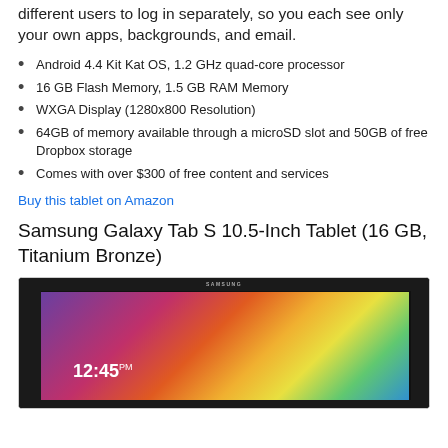different users to log in separately, so you each see only your own apps, backgrounds, and email.
Android 4.4 Kit Kat OS, 1.2 GHz quad-core processor
16 GB Flash Memory, 1.5 GB RAM Memory
WXGA Display (1280x800 Resolution)
64GB of memory available through a microSD slot and 50GB of free Dropbox storage
Comes with over $300 of free content and services
Buy this tablet on Amazon
Samsung Galaxy Tab S 10.5-Inch Tablet (16 GB, Titanium Bronze)
[Figure (photo): Samsung Galaxy Tab S tablet showing a colorful geometric wallpaper with a clock displaying 12:45 PM on the lock screen]